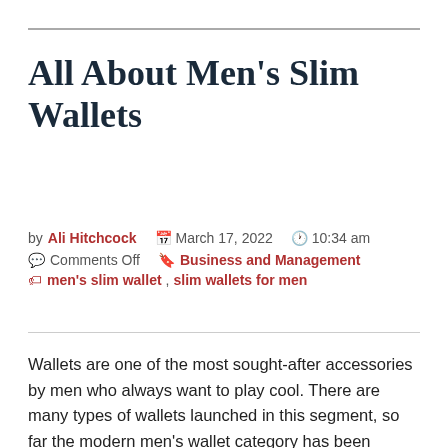All About Men's Slim Wallets
by Ali Hitchcock  📅 March 17, 2022  🕐 10:34 am  💬 Comments Off  🔖 Business and Management  🏷 men's slim wallet, slim wallets for men
Wallets are one of the most sought-after accessories by men who always want to play cool. There are many types of wallets launched in this segment, so far the modern men's wallet category has been expanded